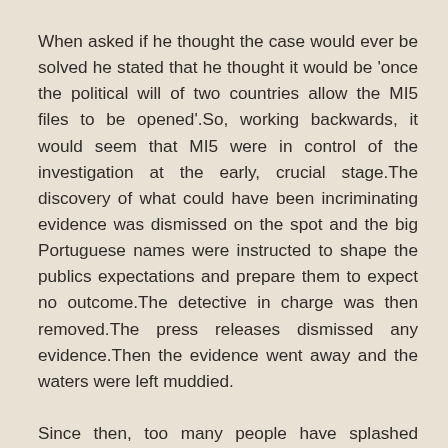When asked if he thought the case would ever be solved he stated that he thought it would be 'once the political will of two countries allow the MI5 files to be opened'.So, working backwards, it would seem that MI5 were in control of the investigation at the early, crucial stage.The discovery of what could have been incriminating evidence was dismissed on the spot and the big Portuguese names were instructed to shape the publics expectations and prepare them to expect no outcome.The detective in charge was then removed.The press releases dismissed any evidence.Then the evidence went away and the waters were left muddied.
Since then, too many people have splashed around in that water and made it muddier.Or, as the quote went : " the case is complex and very difficult to investigate". It would be wouldn't it.If you render all evidence as too enigmatic and inconclusive to be used in a prosecution, it will remain that way.It becomes, and remains, a case